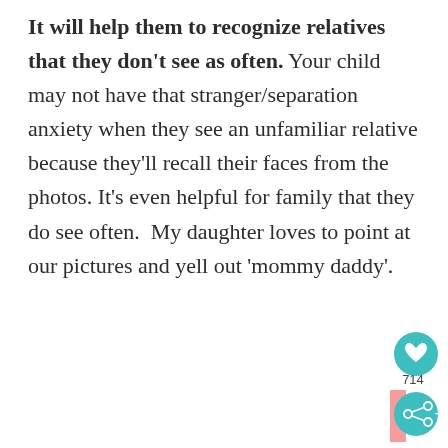It will help them to recognize relatives that they don't see as often. Your child may not have that stranger/separation anxiety when they see an unfamiliar relative because they'll recall their faces from the photos. It's even helpful for family that they do see often.  My daughter loves to point at our pictures and yell out 'mommy daddy'.